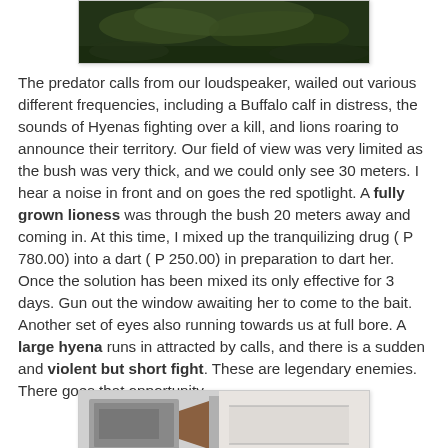[Figure (photo): Outdoor nature scene with dense green bush/vegetation in dark lighting]
The predator calls from our loudspeaker, wailed out various different frequencies, including a Buffalo calf in distress, the sounds of Hyenas fighting over a kill, and lions roaring to announce their territory. Our field of view was very limited as the bush was very thick, and we could only see 30 meters. I hear a noise in front and on goes the red spotlight. A fully grown lioness was through the bush 20 meters away and coming in. At this time, I mixed up the tranquilizing drug ( P 780.00) into a dart ( P 250.00) in preparation to dart her. Once the solution has been mixed its only effective for 3 days. Gun out the window awaiting her to come to the bait. Another set of eyes also running towards us at full bore. A large hyena runs in attracted by calls, and there is a sudden and violent but short fight. These are legendary enemies. There goes that opportunity.
[Figure (photo): Close-up photograph showing a vehicle interior or equipment, possibly a dart gun setup through a window]